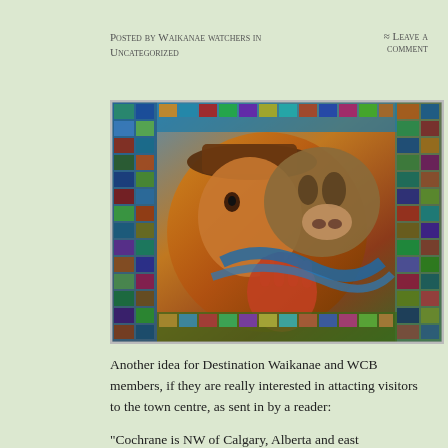Posted by Waikanae watchers in Uncategorized
≈ Leave a comment
[Figure (photo): Colorful mosaic-style artwork showing a cowboy figure alongside a bull/cattle face, composed of many smaller images arranged in a grid pattern. Vibrant colors including blues, oranges, reds and greens.]
Another idea for Destination Waikanae and WCB members, if they are really interested in attacting visitors to the town centre, as sent in by a reader:
“Cochrane is NW of Calgary, Alberta and east